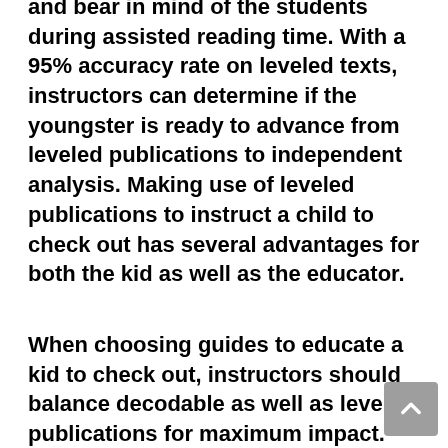and bear in mind of the students during assisted reading time. With a 95% accuracy rate on leveled texts, instructors can determine if the youngster is ready to advance from leveled publications to independent analysis. Making use of leveled publications to instruct a child to check out has several advantages for both the kid as well as the educator.
When choosing guides to educate a kid to check out, instructors should balance decodable as well as leveled publications for maximum impact. The experienced analysis, or leveled books, must be selected according to the ability and in the level above